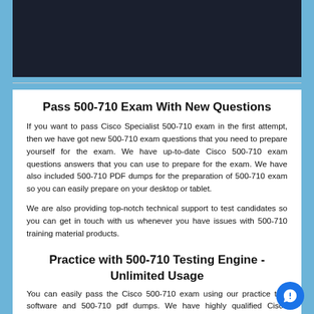[Figure (other): Dark navy banner image at the top of the page]
Pass 500-710 Exam With New Questions
If you want to pass Cisco Specialist 500-710 exam in the first attempt, then we have got new 500-710 exam questions that you need to prepare yourself for the exam. We have up-to-date Cisco 500-710 exam questions answers that you can use to prepare for the exam. We have also included 500-710 PDF dumps for the preparation of 500-710 exam so you can easily prepare on your desktop or tablet.
We are also providing top-notch technical support to test candidates so you can get in touch with us whenever you have issues with 500-710 training material products.
Practice with 500-710 Testing Engine - Unlimited Usage
You can easily pass the Cisco 500-710 exam using our practice test software and 500-710 pdf dumps. We have highly qualified Cisco Specialist experts who are working hard for Cisco 500-710